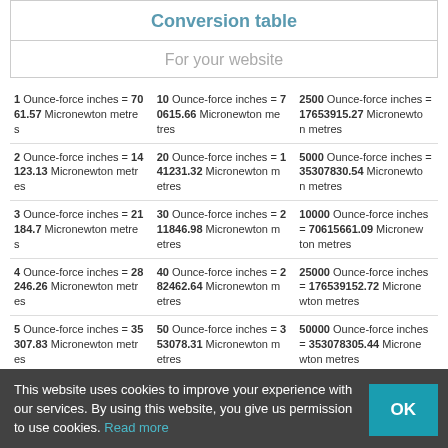Conversion table
For your website
| Col1 | Col2 | Col3 |
| --- | --- | --- |
| 1 Ounce-force inches = 7061.57 Micronewton metres | 10 Ounce-force inches = 70615.66 Micronewton metres | 2500 Ounce-force inches = 17653915.27 Micronewton metres |
| 2 Ounce-force inches = 14123.13 Micronewton metres | 20 Ounce-force inches = 141231.32 Micronewton metres | 5000 Ounce-force inches = 35307830.54 Micronewton metres |
| 3 Ounce-force inches = 21184.7 Micronewton metres | 30 Ounce-force inches = 211846.98 Micronewton metres | 10000 Ounce-force inches = 70615661.09 Micronewton metres |
| 4 Ounce-force inches = 28246.26 Micronewton metres | 40 Ounce-force inches = 282462.64 Micronewton metres | 25000 Ounce-force inches = 176539152.72 Micronewton metres |
| 5 Ounce-force inches = 35307.83 Micronewton metres | 50 Ounce-force inches = 353078.31 Micronewton metres | 50000 Ounce-force inches = 353078305.44 Micronewton metres |
This website uses cookies to improve your experience with our services. By using this website, you give us permission to use cookies. Read more